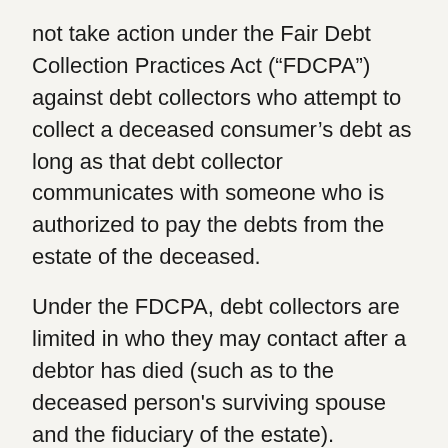not take action under the Fair Debt Collection Practices Act (“FDCPA”) against debt collectors who attempt to collect a deceased consumer’s debt as long as that debt collector communicates with someone who is authorized to pay the debts from the estate of the deceased.
Under the FDCPA, debt collectors are limited in who they may contact after a debtor has died (such as to the deceased person's surviving spouse and the fiduciary of the estate).  However, debt collectors sometimes do ask the family of the deceased for payment of a debt.  If at the time the person passes, the debt is already in collection, it is not uncommon for loved ones to be convinced by debt collectors to make a payment.
Once a debtor has died, creditors need to file a claim against the estate in order to collection any outstanding debt.  How claims need to be filed is determined by state